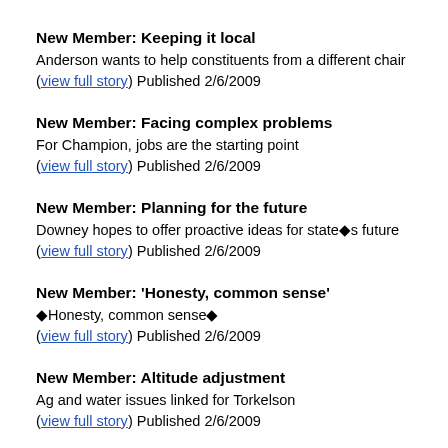New Member: Keeping it local
Anderson wants to help constituents from a different chair
(view full story) Published 2/6/2009
New Member: Facing complex problems
For Champion, jobs are the starting point
(view full story) Published 2/6/2009
New Member: Planning for the future
Downey hopes to offer proactive ideas for state◆s future
(view full story) Published 2/6/2009
New Member: 'Honesty, common sense'
◆Honesty, common sense◆
(view full story) Published 2/6/2009
New Member: Altitude adjustment
Ag and water issues linked for Torkelson
(view full story) Published 2/6/2009
New Member: A young, rural voice